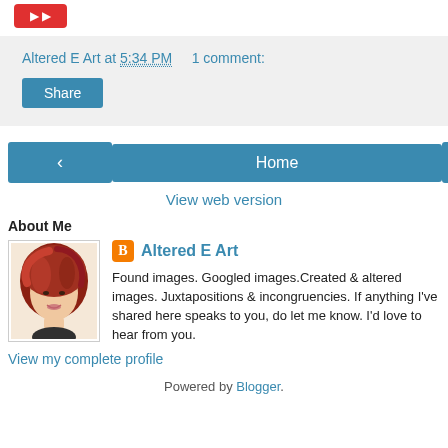[Figure (other): Red button (partially visible at top)]
Altered E Art at 5:34 PM   1 comment:
[Figure (other): Share button]
[Figure (other): Navigation row with left arrow, Home button, right arrow]
View web version
About Me
[Figure (photo): Profile photo of a woman with red/auburn hair]
Altered E Art
Found images. Googled images.Created & altered images. Juxtapositions & incongruencies. If anything I've shared here speaks to you, do let me know. I'd love to hear from you.
View my complete profile
Powered by Blogger.